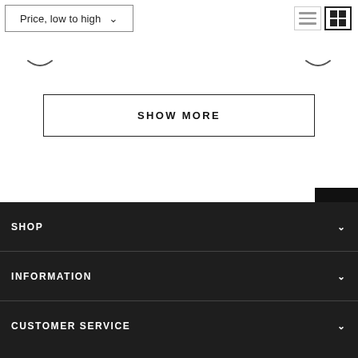Price, low to high
[Figure (screenshot): View toggle icons: list view and grid view]
[Figure (illustration): Two curved smile/underline decorative elements]
SHOW MORE
[Figure (illustration): Back to top button (up chevron on black background), browser back icon, and scroll-to-top arrow icon on right side]
SHOP
INFORMATION
CUSTOMER SERVICE